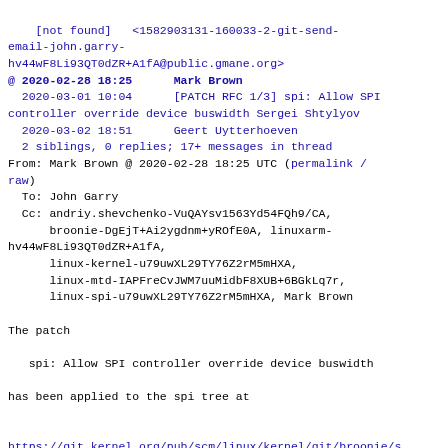[not found]  <1582903131-160033-2-git-send-email-john.garry-hv44wF8Li93QT0dZR+A1fA@public.gmane.org>
@ 2020-02-28 18:25   Mark Brown
  2020-03-01 10:04   [PATCH RFC 1/3] spi: Allow SPI controller override device buswidth Sergei Shtylyov
  2020-03-02 18:51   Geert Uytterhoeven
2 siblings, 0 replies; 17+ messages in thread
From: Mark Brown @ 2020-02-28 18:25 UTC (permalink / raw)
  To: John Garry
  Cc: andriy.shevchenko-VuQAYsv1563Yd54FQh9/CA,
      broonie-DgEjT+Ai2ygdnm+yROfE0A, linuxarm-hv44wF8Li93QT0dZR+A1fA,
      linux-kernel-u79uwXL29TY76Z2rM5mHXA,
      linux-mtd-IAPFreCvJWM7uuMidbF8XUB+6BGkLq7r,
      linux-spi-u79uwXL29TY76Z2rM5mHXA, Mark Brown

The patch

   spi: Allow SPI controller override device buswidth

has been applied to the spi tree at


https://git.kernel.org/pub/scm/linux/kernel/git/broonie/s

All being well this means that it will be integrated into the linux-next
tree (usually sometime in the next 24 hours) and sent